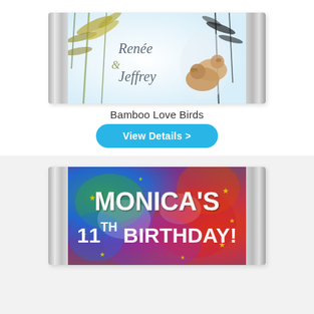[Figure (photo): Chocolate bar with custom 'Bamboo Love Birds' wedding wrapper showing Renee & Jeffrey with bamboo and love birds illustration, silver foil ends]
Bamboo Love Birds
[Figure (other): View Details > button in cyan/blue rounded rectangle]
[Figure (photo): Chocolate bar with colorful tie-dye birthday wrapper reading MONICA'S 11TH BIRTHDAY! with gold stars, silver foil ends]